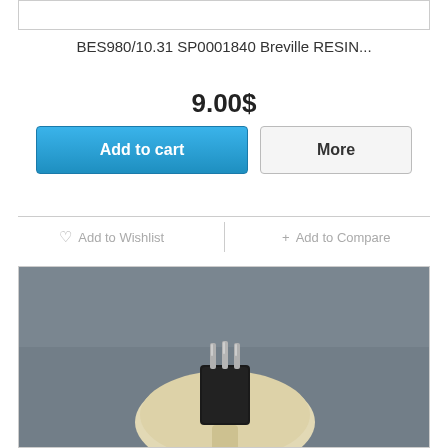BES980/10.31 SP0001840 Breville RESIN...
9.00$
Add to cart
More
♡ Add to Wishlist
+ Add to Compare
[Figure (photo): A Breville resin component/connector part with white oval base, black connector block, and three metal pins on top, photographed on a dark surface.]